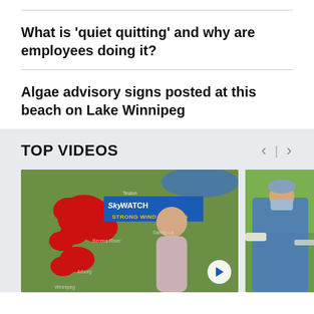What is 'quiet quitting' and why are employees doing it?
Algae advisory signs posted at this beach on Lake Winnipeg
TOP VIDEOS
[Figure (screenshot): Weather forecast video thumbnail showing a meteorologist in front of a map with red highlighted regions and a SkyWATCH Strong Wind Warning banner]
[Figure (photo): Medical professional in scrubs and mask in a clinical setting]